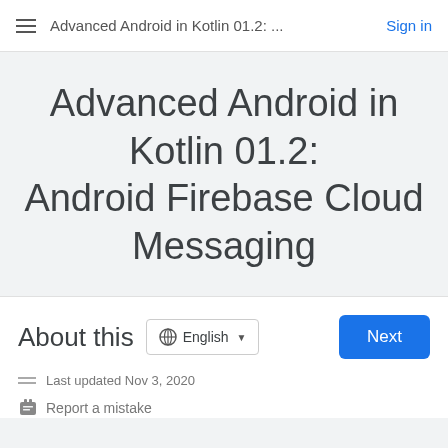Advanced Android in Kotlin 01.2: ...  Sign in
Advanced Android in Kotlin 01.2: Android Firebase Cloud Messaging
About this  English  Next
Last updated Nov 3, 2020
Report a mistake